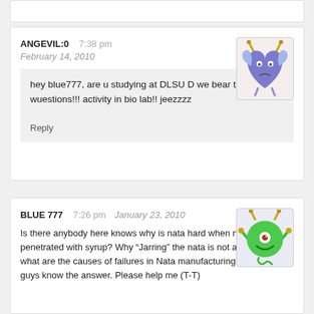[partial comment card at top]
ANGEVIL:0   7:38 pm   February 14, 2010
hey blue777, are u studying at DLSU D we bear the same wuestions!!! activity in bio lab!! jeezzzz
Reply
[Figure (illustration): Cartoon blue heart-shaped devil character with yellow horns and wings]
BLUE 777   7:26 pm   January 23, 2010
[Figure (illustration): Cartoon green round monster character with horns and one eye]
Is there anybody here knows why is nata hard when not fully penetrated with syrup? Why “Jarring” the nata is not allowed? and what are the causes of failures in Nata manufacturing? I hope you guys know the answer. Please help me (T-T)